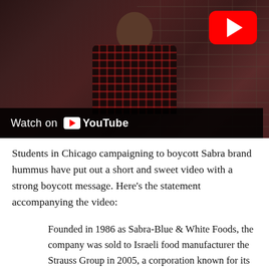[Figure (screenshot): YouTube video thumbnail showing a person in a dark plaid shirt standing against a brick wall. A red YouTube play button is visible in the top-right corner. A 'Watch on YouTube' bar appears at the bottom.]
Students in Chicago campaigning to boycott Sabra brand hummus have put out a short and sweet video with a strong boycott message. Here's the statement accompanying the video:
Founded in 1986 as Sabra-Blue & White Foods, the company was sold to Israeli food manufacturer the Strauss Group in 2005, a corporation known for its explicit support for the Israeli Defense Forces (IDF).